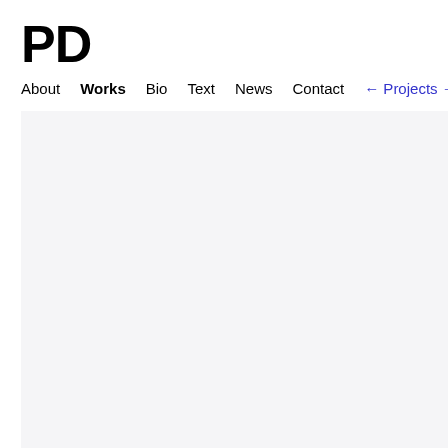PD
About  Works  Bio  Text  News  Contact  ← Projects →  Cze
[Figure (other): Light gray content area background, nearly empty]